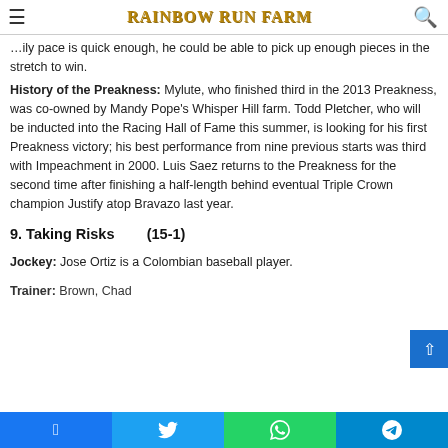RAINBOW RUN FARM
could be able to pick up enough pieces in the stretch to win.
History of the Preakness: Mylute, who finished third in the 2013 Preakness, was co-owned by Mandy Pope's Whisper Hill farm. Todd Pletcher, who will be inducted into the Racing Hall of Fame this summer, is looking for his first Preakness victory; his best performance from nine previous starts was third with Impeachment in 2000. Luis Saez returns to the Preakness for the second time after finishing a half-length behind eventual Triple Crown champion Justify atop Bravazo last year.
9. Taking Risks      (15-1)
Jockey: Jose Ortiz is a Colombian baseball player.
Trainer: Brown, Chad
Facebook  Twitter  WhatsApp  Telegram